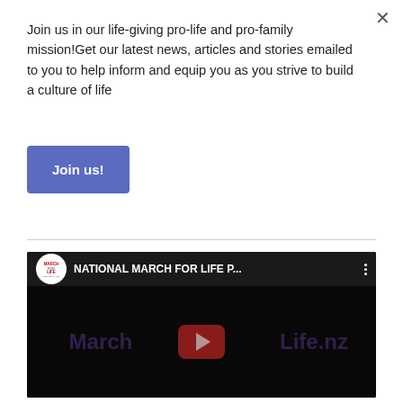Join us in our life-giving pro-life and pro-family mission!Get our latest news, articles and stories emailed to you to help inform and equip you as you strive to build a culture of life
Join us!
[Figure (screenshot): YouTube video embed showing 'NATIONAL MARCH FOR LIFE P...' with March for Life NZ logo, YouTube play button overlay, and MarchForLife.nz watermark text on dark background]